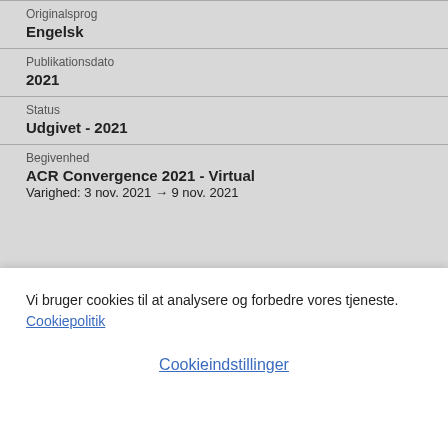Originalsprog
Engelsk
Publikationsdato
2021
Status
Udgivet - 2021
Begivenhed
ACR Convergence 2021 - Virtual
Varighed: 3 nov. 2021 → 9 nov. 2021
Vi bruger cookies til at analysere og forbedre vores tjeneste. Cookiepolitik
Cookieindstillinger